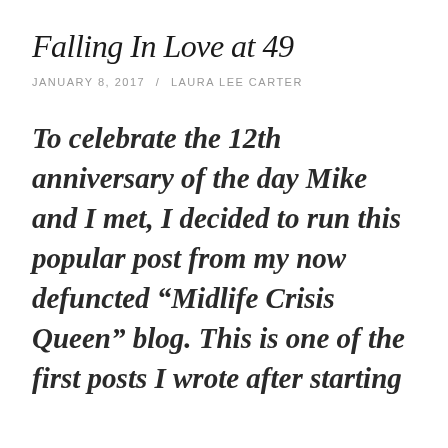Falling In Love at 49
JANUARY 8, 2017 / LAURA LEE CARTER
To celebrate the 12th anniversary of the day Mike and I met, I decided to run this popular post from my now defuncted “Midlife Crisis Queen” blog.  This is one of the first posts I wrote after starting